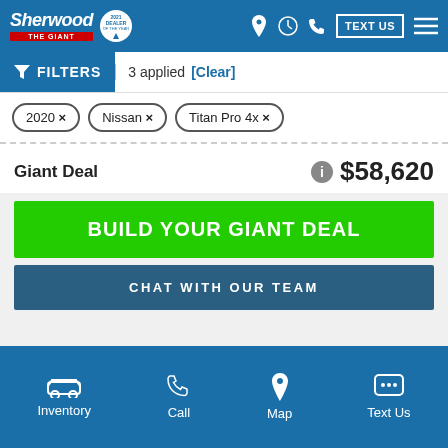Sherwood Ford The Giant — 2021 Dealer of the Year — TEXT US
FILTERS | 3 applied [Clear]
2020 ×  Nissan ×  Titan Pro 4x ×
Giant Deal   $58,620
BUILD YOUR GIANT DEAL
CHAT WITH OUR TEAM
Inventory  Call  Map  Text Us